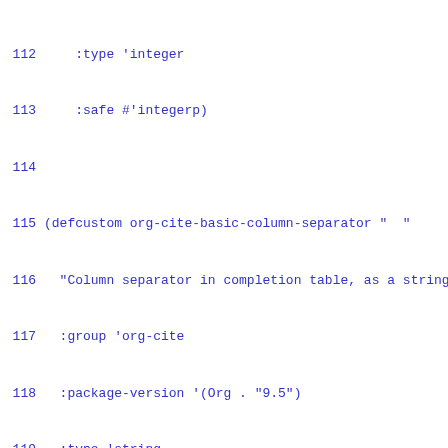112     :type 'integer
113     :safe #'integerp)
114
115 (defcustom org-cite-basic-column-separator "  "
116   "Column separator in completion table, as a string
117   :group 'org-cite
118   :package-version '(Org . "9.5")
119   :type 'string
120   :safe #'stringp)
121
122 (defcustom org-cite-basic-mouse-over-key-face 'highl
123   "Face used when mouse is over a citation key."
124   :group 'org-cite
125   :package-version '(Org . "9.5")
126   :type 'face
127   :safe #'facep)
128
129 \f
130 ;;; Internal variables
131 (defvar org-cite-basic--bibliography-cache nil
132   "Cache for parsed bibliography files.
133
134 This is an association list following the pattern:
135
136   (FILE-ID . ENTRIES)
137
138 FILE-ID is a cons cell (FILE . HASH), with FILE bein
139 the bibliography file, and HASH a hash of its conten
140
141 ENTRIES is a hash table with citation references as